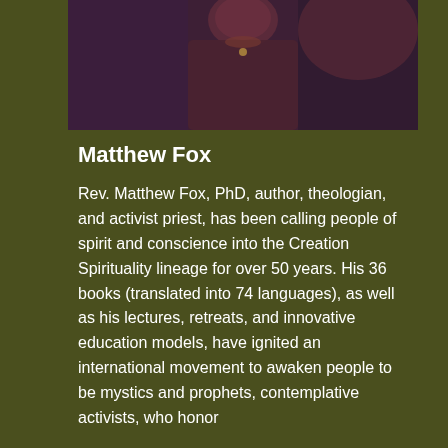[Figure (photo): Photo of Matthew Fox, a person photographed against a dark colorful background with purple and red tones.]
Matthew Fox
Rev. Matthew Fox, PhD, author, theologian, and activist priest, has been calling people of spirit and conscience into the Creation Spirituality lineage for over 50 years. His 36 books (translated into 74 languages), as well as his lectures, retreats, and innovative education models, have ignited an international movement to awaken people to be mystics and prophets, contemplative activists, who honor